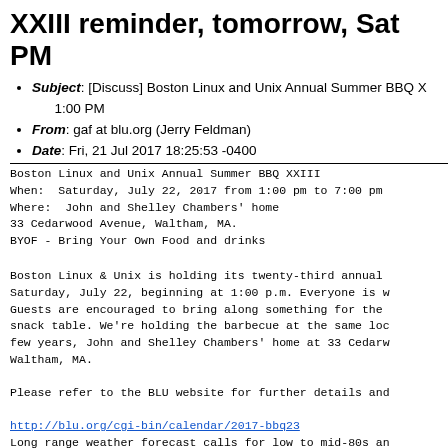XXIII reminder, tomorrow, Saturday, 1:00 PM
Subject: [Discuss] Boston Linux and Unix Annual Summer BBQ XXIII reminder, tomorrow, Saturday, 1:00 PM
From: gaf at blu.org (Jerry Feldman)
Date: Fri, 21 Jul 2017 18:25:53 -0400
Boston Linux and Unix Annual Summer BBQ XXIII
When:  Saturday, July 22, 2017 from 1:00 pm to 7:00 pm
Where:  John and Shelley Chambers' home
33 Cedarwood Avenue, Waltham, MA.
BYOF - Bring Your Own Food and drinks
Boston Linux & Unix is holding its twenty-third annual BBQ on Saturday, July 22, beginning at 1:00 p.m. Everyone is welcome. Guests are encouraged to bring along something for the snack table. We're holding the barbecue at the same location as the past few years, John and Shelley Chambers' home at 33 Cedarwood Avenue, Waltham, MA.
Please refer to the BLU website for further details and
http://blu.org/cgi-bin/calendar/2017-bbq23
Long range weather forecast calls for low to mid-80s an
--
Jerry Feldman <gaf at blu.org>